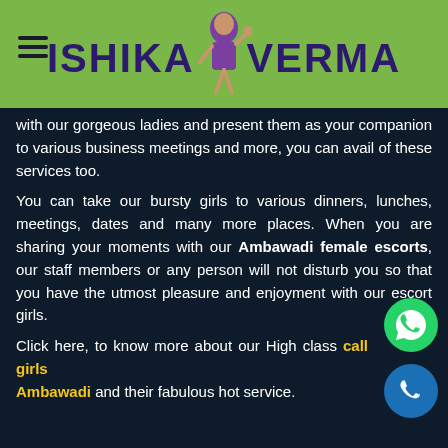ISHIKA VERMA
with our gorgeous ladies and present them as your companion to various business meetings and more, you can avail of these services too.
You can take our bursty girls to various dinners, lunches, meetings, dates and many more places. When you are sharing your moments with our Ambawadi female escorts, our staff members or any person will not disturb you so that you have the utmost pleasure and enjoyment with our escort girls.
Click here, to know more about our High class call girls Ambawadi and their fabulous hot service.